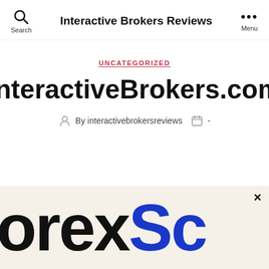Interactive Brokers Reviews
UNCATEGORIZED
InteractiveBrokers.com
By interactivebrokersreviews  -
[Figure (screenshot): Advertisement banner showing partial text 'orexSo' in large bold letters, black and blue colors, on a cream background with a close button (×) in the top right corner.]